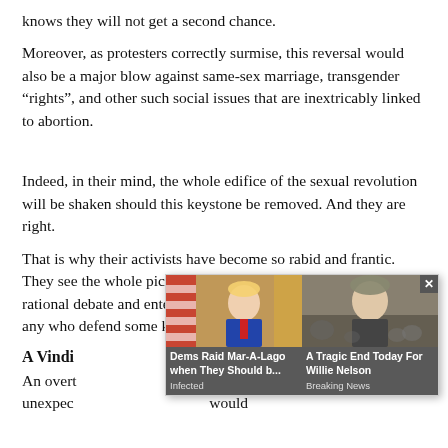knows they will not get a second chance.
Moreover, as protesters correctly surmise, this reversal would also be a major blow against same-sex marriage, transgender “rights”, and other such social issues that are inextricably linked to abortion.
Indeed, in their mind, the whole edifice of the sexual revolution will be shaken should this keystone be removed. And they are right.
That is why their activists have become so rabid and frantic. They see the whole picture crumbling. They have thus cut off rational debate and entered into a polarized uncivil war against any who defend some kind of morality.
A Vindi…
An overt… major unexpec… would
[Figure (other): Ad overlay with two sponsored news cards: 1) 'Dems Raid Mar-A-Lago when They Should b...' sourced from 'Infected' with photo of Trump; 2) 'A Tragic End Today For Willie Nelson' sourced from 'Breaking News' with photo of an elderly man. A close button (x) is shown top-right.]